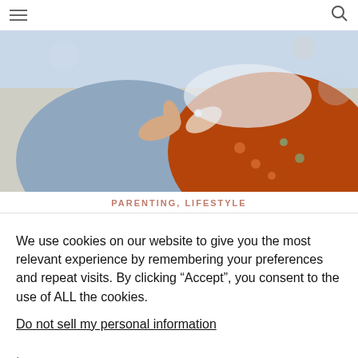Navigation header with hamburger menu and search icon
[Figure (photo): Close-up photo of two people holding hands outdoors; one person wears a ring and a rust-orange patterned garment, the other wears a blue denim jacket]
PARENTING, LIFESTYLE
We use cookies on our website to give you the most relevant experience by remembering your preferences and repeat visits. By clicking “Accept”, you consent to the use of ALL the cookies.
Do not sell my personal information.
Cookie Settings
Accept